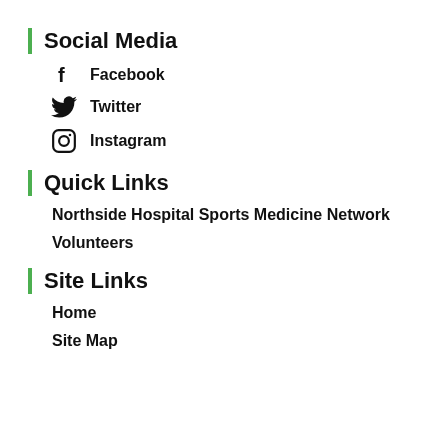Social Media
Facebook
Twitter
Instagram
Quick Links
Northside Hospital Sports Medicine Network
Volunteers
Site Links
Home
Site Map